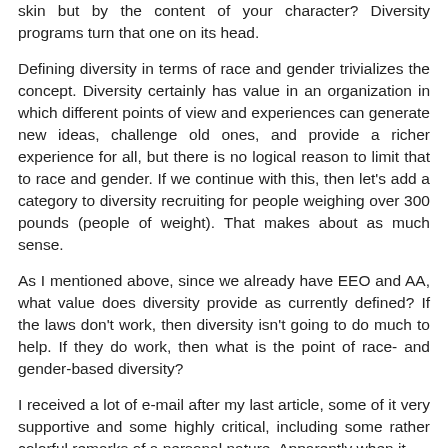skin but by the content of your character? Diversity programs turn that one on its head.
Defining diversity in terms of race and gender trivializes the concept. Diversity certainly has value in an organization in which different points of view and experiences can generate new ideas, challenge old ones, and provide a richer experience for all, but there is no logical reason to limit that to race and gender. If we continue with this, then let's add a category to diversity recruiting for people weighing over 300 pounds (people of weight). That makes about as much sense.
As I mentioned above, since we already have EEO and AA, what value does diversity provide as currently defined? If the laws don't work, then diversity isn't going to do much to help. If they do work, then what is the point of race- and gender-based diversity?
I received a lot of e-mail after my last article, some of it very supportive and some highly critical, including some rather colorful remarks of a personal nature. Apparently when it